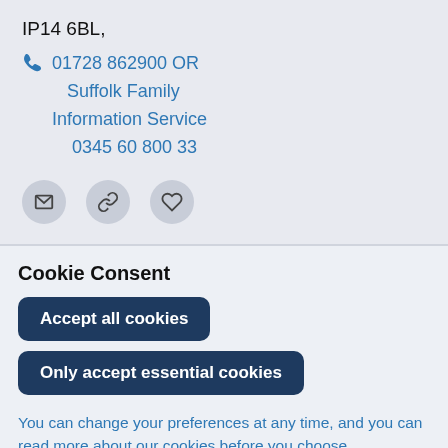IP14 6BL,
01728 862900 OR Suffolk Family Information Service 0345 60 800 33
[Figure (infographic): Three circular icon buttons: email envelope icon, chain link icon, heart icon]
Cookie Consent
Accept all cookies
Only accept essential cookies
You can change your preferences at any time, and you can read more about our cookies before you choose.
Leave Website